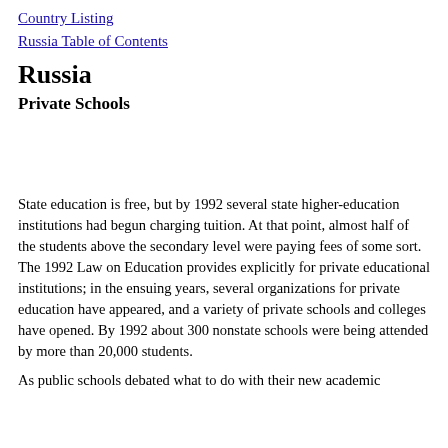Country Listing
Russia Table of Contents
Russia
Private Schools
State education is free, but by 1992 several state higher-education institutions had begun charging tuition. At that point, almost half of the students above the secondary level were paying fees of some sort. The 1992 Law on Education provides explicitly for private educational institutions; in the ensuing years, several organizations for private education have appeared, and a variety of private schools and colleges have opened. By 1992 about 300 nonstate schools were being attended by more than 20,000 students.
As public schools debated what to do with their new academic